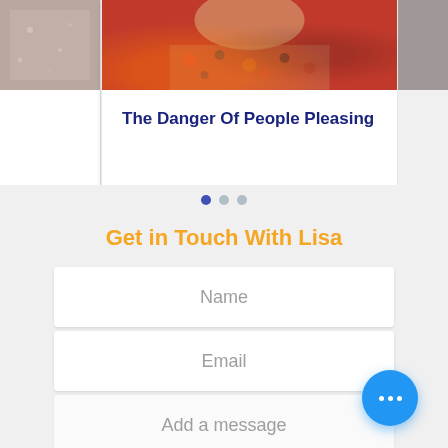[Figure (photo): Partial view of carousel cards. Center card shows a woman in a red sweater with a floral/patterned scarf. Left and right partial cards are visible.]
The Danger Of People Pleasing
[Figure (infographic): Carousel pagination dots — one filled blue dot (active), two grey dots (inactive)]
Get in Touch With Lisa
Name
Email
Add a message